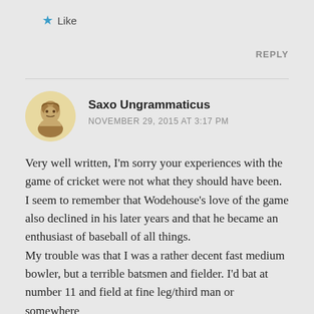★ Like
REPLY
Saxo Ungrammaticus
NOVEMBER 29, 2015 AT 3:17 PM
Very well written, I'm sorry your experiences with the game of cricket were not what they should have been. I seem to remember that Wodehouse's love of the game also declined in his later years and that he became an enthusiast of baseball of all things.
My trouble was that I was a rather decent fast medium bowler, but a terrible batsmen and fielder. I'd bat at number 11 and field at fine leg/third man or somewhere